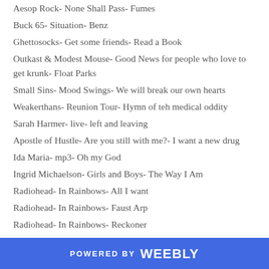Aesop Rock- None Shall Pass- Fumes
Buck 65- Situation- Benz
Ghettosocks- Get some friends- Read a Book
Outkast & Modest Mouse- Good News for people who love to get krunk- Float Parks
Small Sins- Mood Swings- We will break our own hearts
Weakerthans- Reunion Tour- Hymn of teh medical oddity
Sarah Harmer- live- left and leaving
Apostle of Hustle- Are you still with me?- I want a new drug
Ida Maria- mp3- Oh my God
Ingrid Michaelson- Girls and Boys- The Way I Am
Radiohead- In Rainbows- All I want
Radiohead- In Rainbows- Faust Arp
Radiohead- In Rainbows- Reckoner
POWERED BY weebly